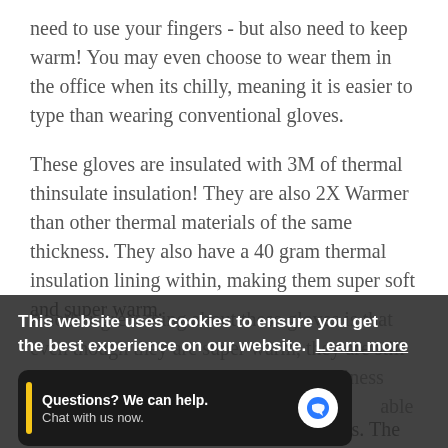need to use your fingers - but also need to keep warm! You may even choose to wear them in the office when its chilly, meaning it is easier to type than wearing conventional gloves.
These gloves are insulated with 3M of thermal thinsulate insulation! They are also 2X Warmer than other thermal materials of the same thickness. They also have a 40 gram thermal insulation lining within, making them super soft and super warm.
Another great thing about these gloves is that even though they are super warm, they are still extra thin meaning that there is no bulkiness about these socks. This [provides a] able fit.
This website uses cookies to ensure you get the best experience on our website. Learn more
Questions? We can help. Chat with us now.
They are available in black and two sizes. The thin